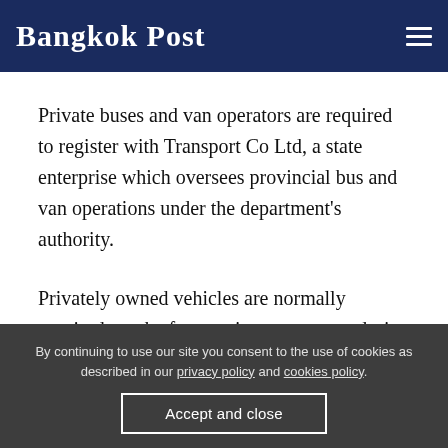Bangkok Post
Private buses and van operators are required to register with Transport Co Ltd, a state enterprise which oversees provincial bus and van operations under the department's authority.
Privately owned vehicles are normally required to take fare-paying passengers during holiday seasons when passenger numbers soar. According to
By continuing to use our site you consent to the use of cookies as described in our privacy policy and cookies policy.
Accept and close